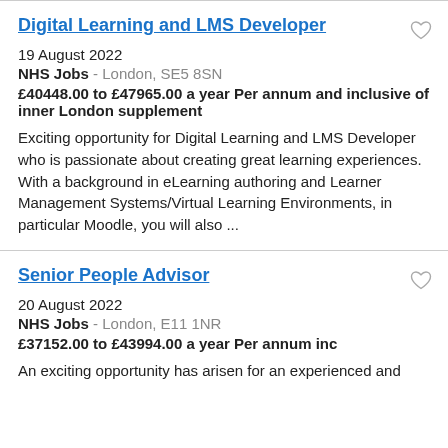Digital Learning and LMS Developer
19 August 2022
NHS Jobs - London, SE5 8SN
£40448.00 to £47965.00 a year Per annum and inclusive of inner London supplement
Exciting opportunity for Digital Learning and LMS Developer who is passionate about creating great learning experiences. With a background in eLearning authoring and Learner Management Systems/Virtual Learning Environments, in particular Moodle, you will also ...
Senior People Advisor
20 August 2022
NHS Jobs - London, E11 1NR
£37152.00 to £43994.00 a year Per annum inc
An exciting opportunity has arisen for an experienced and...